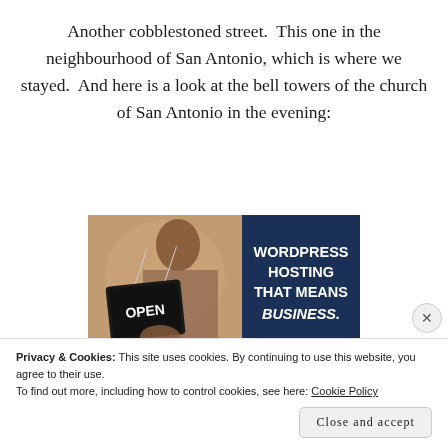Another cobblestoned street.  This one in the neighbourhood of San Antonio, which is where we stayed.  And here is a look at the bell towers of the church of San Antonio in the evening:
[Figure (photo): An advertisement showing a woman holding an OPEN sign, with text reading WORDPRESS HOSTING THAT MEANS BUSINESS.]
Privacy & Cookies: This site uses cookies. By continuing to use this website, you agree to their use.
To find out more, including how to control cookies, see here: Cookie Policy
Close and accept